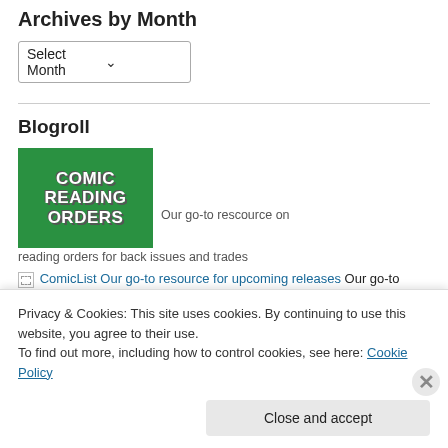Archives by Month
Select Month
Blogroll
[Figure (logo): Green banner image with white bold text reading COMIC READING ORDERS]
Our go-to rescource on reading orders for back issues and trades
ComicList Our go-to resource for upcoming releases Our go-to resource for upcoming releases
Privacy & Cookies: This site uses cookies. By continuing to use this website, you agree to their use.
To find out more, including how to control cookies, see here: Cookie Policy
Close and accept